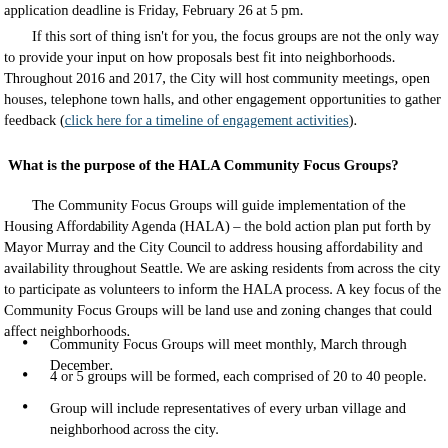application deadline is Friday, February 26 at 5 pm.
If this sort of thing isn't for you, the focus groups are not the only way to provide input on how proposals best fit into neighborhoods. Throughout 2016 and 2017, the City will host community meetings, open houses, telephone town halls, and other engagement opportunities to gather feedback (click here for a timeline of engagement activities).
What is the purpose of the HALA Community Focus Groups?
The Community Focus Groups will guide implementation of the Housing Affordability Agenda (HALA) – the bold action plan put forth by Mayor Murray and the City Council to address housing affordability and availability throughout Seattle. We are asking residents from across the city to participate as volunteers to inform the HALA process. A key focus of the Community Focus Groups will be land use and zoning changes that could affect neighborhoods.
Community Focus Groups will meet monthly, March through December.
4 or 5 groups will be formed, each comprised of 20 to 40 people.
Group will include representatives of every urban village and neighborhood across the city.
The meetings are intended to bring about constructive dialogue about ho...
Meetings will be open for other members of the public to observe and co...